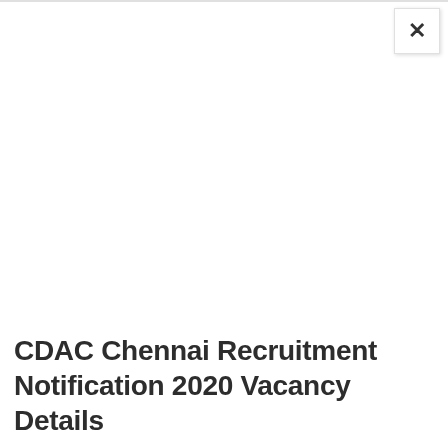CDAC Chennai Recruitment Notification 2020 Vacancy Details